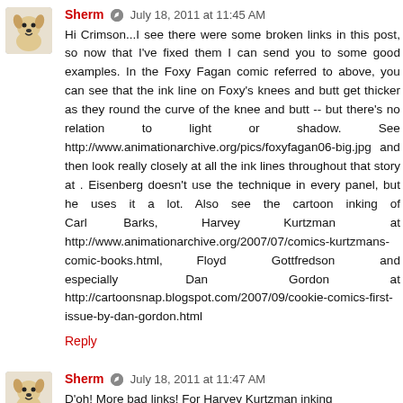Sherm · July 18, 2011 at 11:45 AM
Hi Crimson...I see there were some broken links in this post, so now that I've fixed them I can send you to some good examples. In the Foxy Fagan comic referred to above, you can see that the ink line on Foxy's knees and butt get thicker as they round the curve of the knee and butt -- but there's no relation to light or shadow. See http://www.animationarchive.org/pics/foxyfagan06-big.jpg and then look really closely at all the ink lines throughout that story at . Eisenberg doesn't use the technique in every panel, but he uses it a lot. Also see the cartoon inking of Carl Barks, Harvey Kurtzman at http://www.animationarchive.org/2007/07/comics-kurtzmans-comic-books.html, Floyd Gottfredson and especially Dan Gordon at http://cartoonsnap.blogspot.com/2007/09/cookie-comics-first-issue-by-dan-gordon.html
Reply
Sherm · July 18, 2011 at 11:47 AM
D'oh! More bad links! For Harvey Kurtzman inking